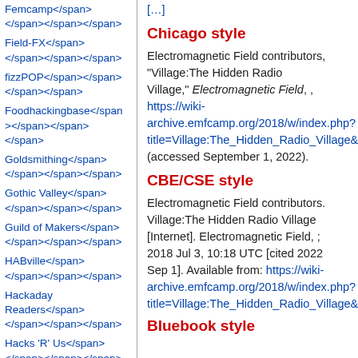Femcamp</span></span></span></span>
Field-FX</span></span></span></span>
fizzPOP</span></span></span></span>
Foodhackingbase</span></span></span></span>
Goldsmithing</span></span></span></span>
Gothic Valley</span></span></span></span>
Guild of Makers</span></span></span></span>
HABville</span></span></span></span>
Hackaday Readers</span></span></span></span>
Hacks 'R' Us</span></span></span></span>
Hacky Racers</span></span></span></span>
Hamfurs</span></span></span></span>
Hardware Hacking Area...
Chicago style
Electromagnetic Field contributors, "Village:The Hidden Radio Village," Electromagnetic Field, , https://wiki-archive.emfcamp.org/2018/w/index.php?title=Village:The_Hidden_Radio_Village&c (accessed September 1, 2022).
CBE/CSE style
Electromagnetic Field contributors. Village:The Hidden Radio Village [Internet]. Electromagnetic Field, ; 2018 Jul 3, 10:18 UTC [cited 2022 Sep 1]. Available from: https://wiki-archive.emfcamp.org/2018/w/index.php?title=Village:The_Hidden_Radio_Village&c
Bluebook style